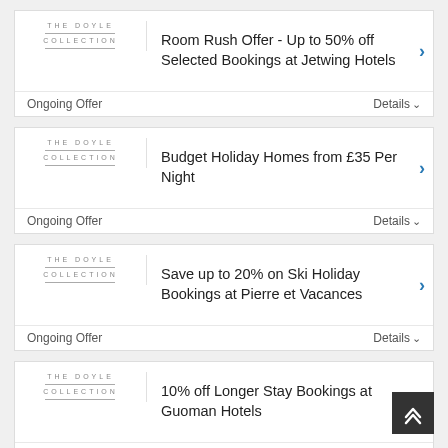Room Rush Offer - Up to 50% off Selected Bookings at Jetwing Hotels | Ongoing Offer | Details
Budget Holiday Homes from £35 Per Night | Ongoing Offer | Details
Save up to 20% on Ski Holiday Bookings at Pierre et Vacances | Ongoing Offer | Details
10% off Longer Stay Bookings at Guoman Hotels | Ongoing Offer | Details
Up to 60% off Southend Airport Parking